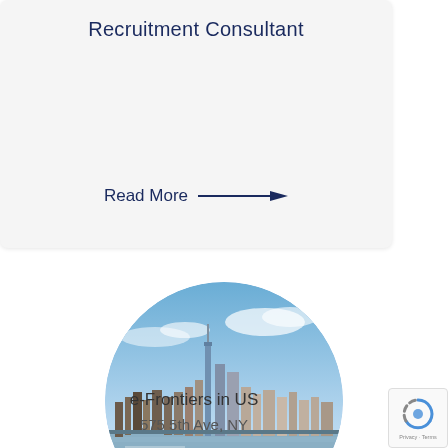Recruitment Consultant
Read More →
[Figure (photo): Circular cropped photo of a city skyline (New York City) reflected in water, with blue sky and clouds]
e-Frontiers in US
575 5th Ave, NY
[Figure (logo): reCAPTCHA widget with Privacy and Terms text]